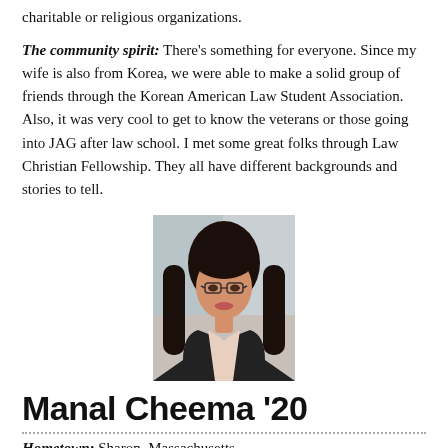charitable or religious organizations.
The community spirit: There's something for everyone. Since my wife is also from Korea, we were able to make a solid group of friends through the Korean American Law Student Association. Also, it was very cool to get to know the veterans or those going into JAG after law school. I met some great folks through Law Christian Fellowship. They all have different backgrounds and stories to tell.
[Figure (photo): Headshot photo of Manal Cheema, a young woman with long dark hair, wearing glasses and a dark blazer, smiling.]
Manal Cheema '20
Hometown: Sharon, Massachusetts